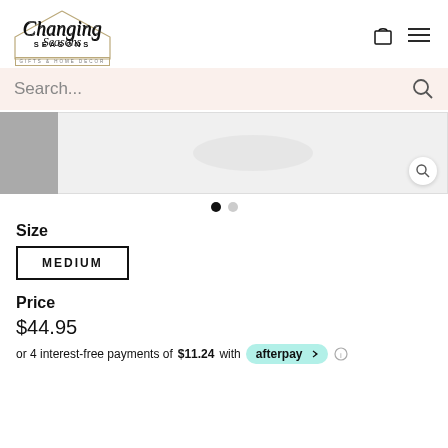Changing Seasons Gifts & Home Decor
Search...
[Figure (photo): Product image area with thumbnail on left and main product image on right with zoom button]
Size
MEDIUM
Price
$44.95
or 4 interest-free payments of $11.24 with afterpay